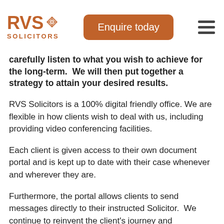RVS SOLICITORS | Enquire today [button] | [hamburger menu]
carefully listen to what you wish to achieve for the long-term.  We will then put together a strategy to attain your desired results.
RVS Solicitors is a 100% digital friendly office. We are flexible in how clients wish to deal with us, including providing video conferencing facilities.
Each client is given access to their own document portal and is kept up to date with their case whenever and wherever they are.
Furthermore, the portal allows clients to send messages directly to their instructed Solicitor.  We continue to reinvent the client's journey and experience in seeking legal advice. Read about our vision here.